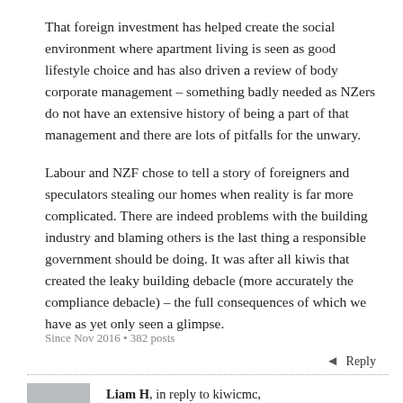That foreign investment has helped create the social environment where apartment living is seen as good lifestyle choice and has also driven a review of body corporate management – something badly needed as NZers do not have an extensive history of being a part of that management and there are lots of pitfalls for the unwary.
Labour and NZF chose to tell a story of foreigners and speculators stealing our homes when reality is far more complicated. There are indeed problems with the building industry and blaming others is the last thing a responsible government should be doing. It was after all kiwis that created the leaky building debacle (more accurately the compliance debacle) – the full consequences of which we have as yet only seen a glimpse.
Since Nov 2016 • 382 posts
◄ Reply
Liam H, in reply to kiwicmc, 4 years ago ∞